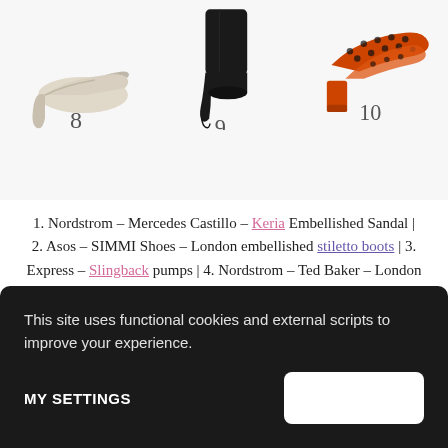[Figure (photo): Three shoe product images arranged in a row. Image 8: beige/champagne pointed-toe stiletto heel. Image 9: black ankle boot with stiletto heel. Image 10: orange polka-dot mule slides with block heel.]
1. Nordstrom – Mercedes Castillo – Keria Embellished Sandal | 2. Asos – SIMMI Shoes – London embellished stiletto boots | 3. Express – Slingback pumps | 4. Nordstrom – Ted Baker – London Bowdalo Sandal |
This site uses functional cookies and external scripts to improve your experience.
MY SETTINGS